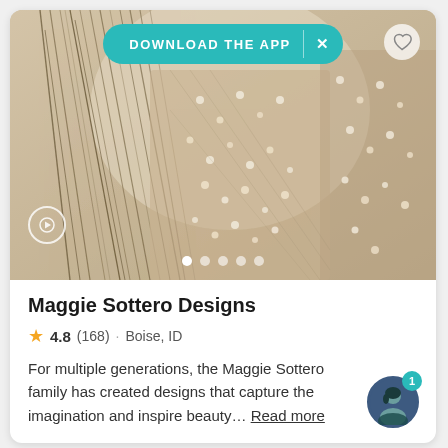[Figure (screenshot): Fashion photo of beaded/fringed bridal gown fabric with pearl embellishments, shown as a photo card with download app banner overlay and heart icon]
Maggie Sottero Designs
4.8 (168) · Boise, ID
For multiple generations, the Maggie Sottero family has created designs that capture the imagination and inspire beauty… Read more